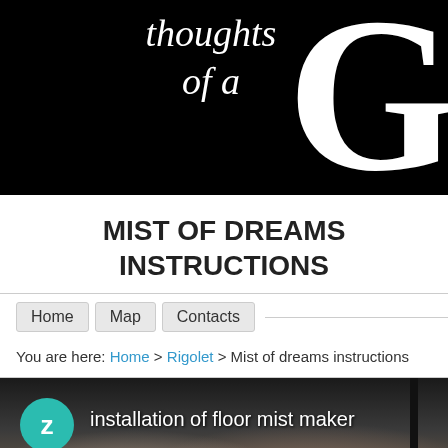thoughts of a
MIST OF DREAMS INSTRUCTIONS
Home   Map   Contacts
You are here: Home > Rigolet > Mist of dreams instructions
[Figure (screenshot): Video thumbnail showing installation of floor mist maker with a teal circle badge containing letter Z and white text label]